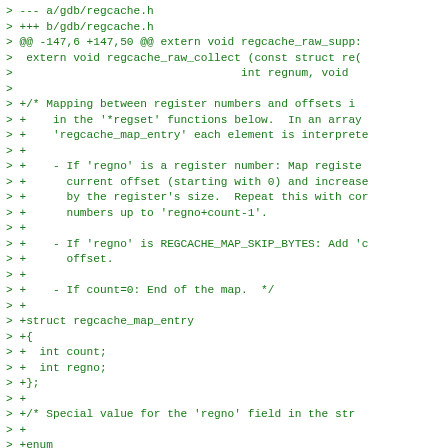> --- a/gdb/regcache.h
> +++ b/gdb/regcache.h
> @@ -147,6 +147,50 @@ extern void regcache_raw_supp:
>  extern void regcache_raw_collect (const struct re(
>                                   int regnum, void
>
> +/* Mapping between register numbers and offsets i
> +    in the '*regset' functions below.  In an array
> +    'regcache_map_entry' each element is interprete
> +
> +    - If 'regno' is a register number: Map registe
> +      current offset (starting with 0) and increase
> +      by the register's size.  Repeat this with cor
> +      numbers up to 'regno+count-1'.
> +
> +    - If 'regno' is REGCACHE_MAP_SKIP_BYTES: Add 'c
> +      offset.
> +
> +    - If count=0: End of the map.  */
> +
> +struct regcache_map_entry
> +{
> +  int count;
> +  int regno;
> +};
> +
> +/* Special value for the 'regno' field in the str
> +
> +enum
> +  {
> +    REGCACHE_MAP_SKIP_BYTES = -1,
> +  };